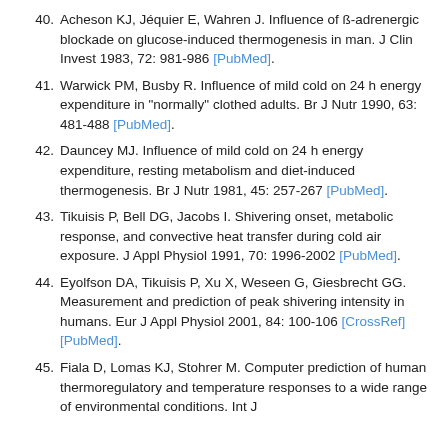40. Acheson KJ, Jéquier E, Wahren J. Influence of ß-adrenergic blockade on glucose-induced thermogenesis in man. J Clin Invest 1983, 72: 981-986 [PubMed].
41. Warwick PM, Busby R. Influence of mild cold on 24 h energy expenditure in "normally" clothed adults. Br J Nutr 1990, 63: 481-488 [PubMed].
42. Dauncey MJ. Influence of mild cold on 24 h energy expenditure, resting metabolism and diet-induced thermogenesis. Br J Nutr 1981, 45: 257-267 [PubMed].
43. Tikuisis P, Bell DG, Jacobs I. Shivering onset, metabolic response, and convective heat transfer during cold air exposure. J Appl Physiol 1991, 70: 1996-2002 [PubMed].
44. Eyolfson DA, Tikuisis P, Xu X, Weseen G, Giesbrecht GG. Measurement and prediction of peak shivering intensity in humans. Eur J Appl Physiol 2001, 84: 100-106 [CrossRef] [PubMed].
45. Fiala D, Lomas KJ, Stohrer M. Computer prediction of human thermoregulatory and temperature responses to a wide range of environmental conditions. Int J